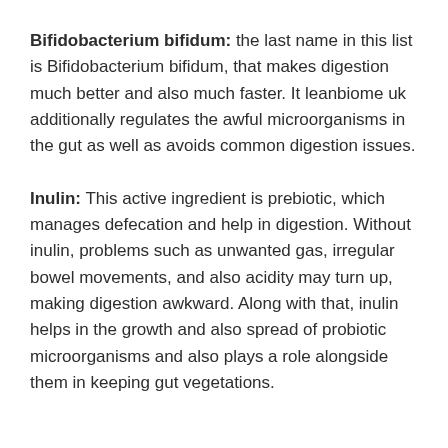Bifidobacterium bifidum: the last name in this list is Bifidobacterium bifidum, that makes digestion much better and also much faster. It leanbiome uk additionally regulates the awful microorganisms in the gut as well as avoids common digestion issues.
Inulin: This active ingredient is prebiotic, which manages defecation and help in digestion. Without inulin, problems such as unwanted gas, irregular bowel movements, and also acidity may turn up, making digestion awkward. Along with that, inulin helps in the growth and also spread of probiotic microorganisms and also plays a role alongside them in keeping gut vegetations.